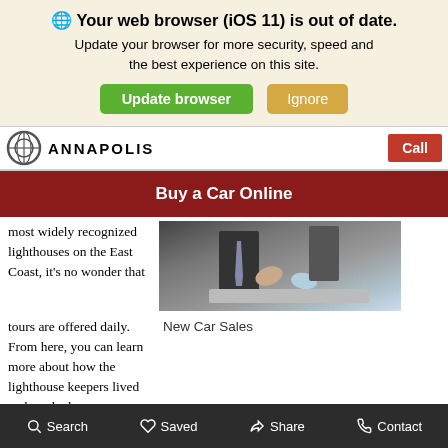🌐 Your web browser (iOS 11) is out of date. Update your browser for more security, speed and the best experience on this site. [Update browser] [Ignore]
ANNAPOLIS | Call
Buy a Car Online
most widely recognized lighthouses on the East Coast, it's no wonder that tours are offered daily. From here, you can learn more about how the lighthouse keepers lived and worked.
[Figure (photo): Two people shaking hands at a car dealership desk]
New Car Sales
Quiet Waters Park provides over 340 acres of beautiful grounds for families and visitors. Whether you plan to see a concert, walk the extensive trails, or spend some time at the playground, this destination has a little something for
Search | Saved | Share | Contact